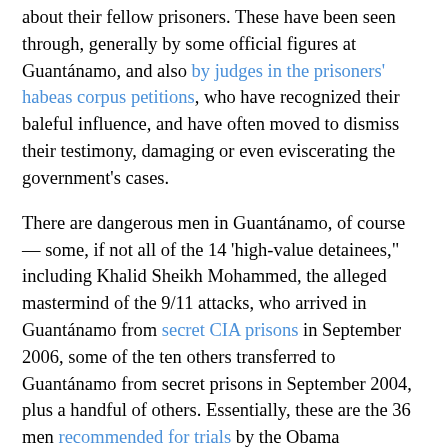about their fellow prisoners. These have been seen through, generally by some official figures at Guantánamo, and also by judges in the prisoners' habeas corpus petitions, who have recognized their baleful influence, and have often moved to dismiss their testimony, damaging or even eviscerating the government's cases.
There are dangerous men in Guantánamo, of course — some, if not all of the 14 'high-value detainees," including Khalid Sheikh Mohammed, the alleged mastermind of the 9/11 attacks, who arrived in Guantánamo from secret CIA prisons in September 2006, some of the ten others transferred to Guantánamo from secret prisons in September 2004, plus a handful of others. Essentially, these are the 36 men recommended for trials by the Obama administration's Guantánamo Review Task Force, which spent the whole of 2009 analysing the prisoners' cases.
As for the rest of the 171 men still held, 47 of whom are being held indefinitely without charge or trial by President